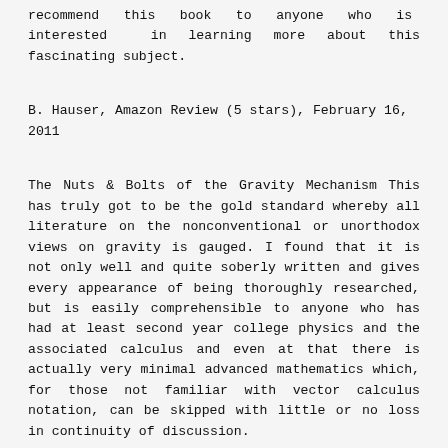recommend this book to anyone who is interested in learning more about this fascinating subject.
B. Hauser, Amazon Review (5 stars), February 16, 2011
The Nuts & Bolts of the Gravity Mechanism This has truly got to be the gold standard whereby all literature on the nonconventional or unorthodox views on gravity is gauged. I found that it is not only well and quite soberly written and gives every appearance of being thoroughly researched, but is easily comprehensible to anyone who has had at least second year college physics and the associated calculus and even at that there is actually very minimal advanced mathematics which, for those not familiar with vector calculus notation, can be skipped with little or no loss in continuity of discussion.
The main thesis here is that, as initially difficult to accept as it might seem, gravity and electrostatic force are in fact directly